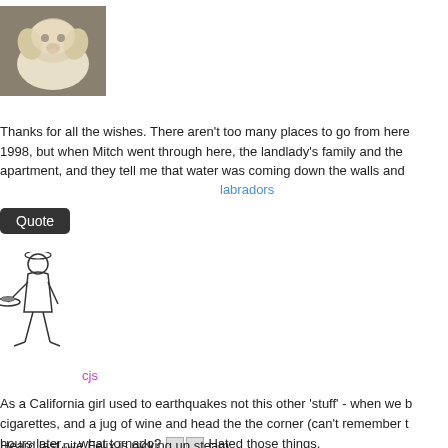[Figure (photo): Photo of a fluffy white/cream dog (labrador puppy) looking at the camera, on a gray surface]
labradors
Thanks for all the wishes. There aren't too many places to go from here 1998, but when Mitch went through here, the landlady's family and the apartment, and they tell me that water was coming down the walls and
[Figure (illustration): Cartoon line drawing of a waiter/server figure carrying a tray]
cjs
As a California girl used to earthquakes not this other 'stuff' - when we b cigarettes, and a jug of wine and head the the corner (can't remember t hours later.....what tornado? [img] [img] Hated those things.
Heard last nite Felix is picking up steam